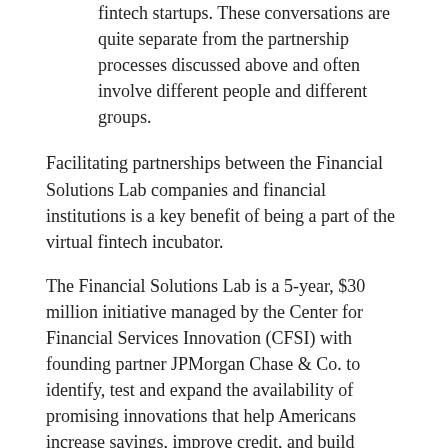fintech startups. These conversations are quite separate from the partnership processes discussed above and often involve different people and different groups.
Facilitating partnerships between the Financial Solutions Lab companies and financial institutions is a key benefit of being a part of the virtual fintech incubator.
The Financial Solutions Lab is a 5-year, $30 million initiative managed by the Center for Financial Services Innovation (CFSI) with founding partner JPMorgan Chase & Co. to identify, test and expand the availability of promising innovations that help Americans increase savings, improve credit, and build assets.
Throughout the program, FinLab companies get exposure to members of CFSI's Financial Health Network and are paired with JPMorgan Chase mentors